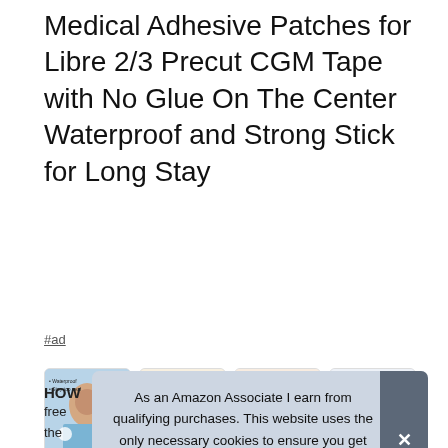Medical Adhesive Patches for Libre 2/3 Precut CGM Tape with No Glue On The Center Waterproof and Strong Stick for Long Stay
#ad
[Figure (photo): Four product images showing medical adhesive CGM patches: woman in pool with patch, woman holding device, arm with patch applied, hand holding patch strip]
HOW
free the stick to the sensor.
As an Amazon Associate I earn from qualifying purchases. This website uses the only necessary cookies to ensure you get the best experience on our website. More information